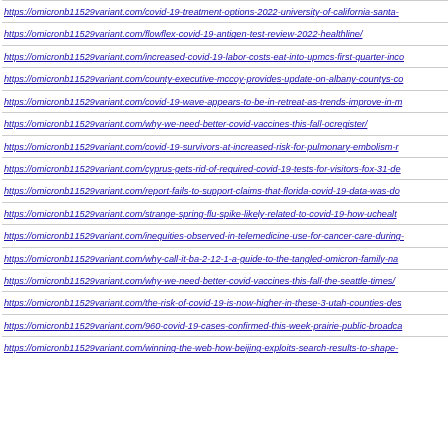https://omicronb11529variant.com/covid-19-treatment-options-2022-university-of-california-santa-
https://omicronb11529variant.com/flowflex-covid-19-antigen-test-review-2022-healthline/
https://omicronb11529variant.com/increased-covid-19-labor-costs-eat-into-upmcs-first-quarter-inco
https://omicronb11529variant.com/county-executive-mccoy-provides-update-on-albany-countys-co
https://omicronb11529variant.com/covid-19-wave-appears-to-be-in-retreat-as-trends-improve-in-m
https://omicronb11529variant.com/why-we-need-better-covid-vaccines-this-fall-ocregister/
https://omicronb11529variant.com/covid-19-survivors-at-increased-risk-for-pulmonary-embolism-r
https://omicronb11529variant.com/cyprus-gets-rid-of-required-covid-19-tests-for-visitors-fox-31-de
https://omicronb11529variant.com/report-fails-to-support-claims-that-florida-covid-19-data-was-do
https://omicronb11529variant.com/strange-spring-flu-spike-likely-related-to-covid-19-how-uchealt
https://omicronb11529variant.com/inequities-observed-in-telemedicine-use-for-cancer-care-during-
https://omicronb11529variant.com/why-call-it-ba-2-12-1-a-guide-to-the-tangled-omicron-family-na
https://omicronb11529variant.com/why-we-need-better-covid-vaccines-this-fall-the-seattle-times/
https://omicronb11529variant.com/the-risk-of-covid-19-is-now-higher-in-these-3-utah-counties-des
https://omicronb11529variant.com/960-covid-19-cases-confirmed-this-week-prairie-public-broadca
https://omicronb11529variant.com/winning-the-web-how-beijing-exploits-search-results-to-shape-